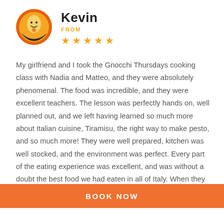[Figure (illustration): Circular avatar with orange background showing a cartoon egg/food character with a smiley face]
Kevin
FROM
[Figure (other): Five gold/orange star rating icons]
My girlfriend and I took the Gnocchi Thursdays cooking class with Nadia and Matteo, and they were absolutely phenomenal. The food was incredible, and they were excellent teachers. The lesson was perfectly hands on, well planned out, and we left having learned so much more about Italian cuisine, Tiramisu, the right way to make pesto, and so much more! They were well prepared, kitchen was well stocked, and the environment was perfect. Every part of the eating experience was excellent, and was without a doubt the best food we had eaten in all of Italy. When they
BOOK NOW